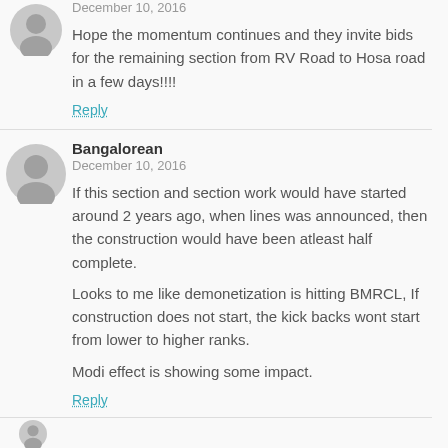December 10, 2016
Hope the momentum continues and they invite bids for the remaining section from RV Road to Hosa road in a few days!!!!
Reply
Bangalorean
December 10, 2016
If this section and section work would have started around 2 years ago, when lines was announced, then the construction would have been atleast half complete.
Looks to me like demonetization is hitting BMRCL, If construction does not start, the kick backs wont start from lower to higher ranks.
Modi effect is showing some impact.
Reply